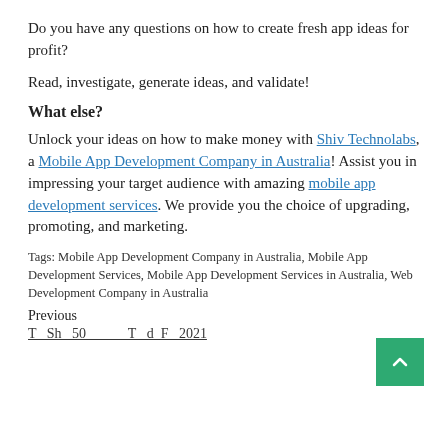Do you have any questions on how to create fresh app ideas for profit?
Read, investigate, generate ideas, and validate!
What else?
Unlock your ideas on how to make money with Shiv Technolabs, a Mobile App Development Company in Australia! Assist you in impressing your target audience with amazing mobile app development services. We provide you the choice of upgrading, promoting, and marketing.
Tags: Mobile App Development Company in Australia, Mobile App Development Services, Mobile App Development Services in Australia, Web Development Company in Australia
Previous